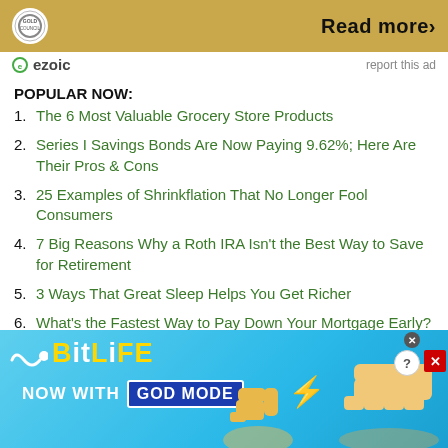[Figure (other): Top advertisement banner with gold background showing World Gold Council logo and 'Read more>' text]
[Figure (other): Ezoic ad attribution bar with ezoic logo and 'report this ad' link]
POPULAR NOW:
1. The 6 Most Valuable Grocery Store Products
2. Series I Savings Bonds Are Now Paying 9.62%; Here Are Their Pros & Cons
3. 25 Examples of Shrinkflation That No Longer Fool Consumers
4. 7 Big Reasons Why a Roth IRA Isn't the Best Way to Save for Retirement
5. 3 Ways That Great Sleep Helps You Get Richer
6. What's the Fastest Way to Pay Down Your Mortgage Early?
7. How to Save Money on Dental Care So You Won't Go Broke at the Dentist
8. Historical Gold & Silver Benchmarks for Wages and Commodity
[Figure (other): BitLife mobile game advertisement banner with blue background, 'NOW WITH GOD MODE' text and hand illustrations]